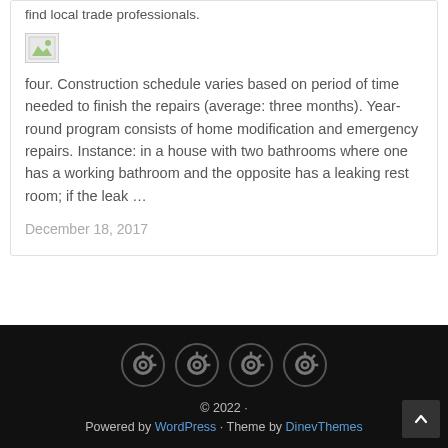find local trade professionals.
[Figure (illustration): Broken/placeholder image icon]
four. Construction schedule varies based on period of time needed to finish the repairs (average: three months). Year-round program consists of home modification and emergency repairs. Instance: in a house with two bathrooms where one has a working bathroom and the opposite has a leaking rest room; if the leak ...
December 18, 2017
[Figure (illustration): Four circular social media icons in footer]
© 2022 · Powered by WordPress · Theme by DinevThemes